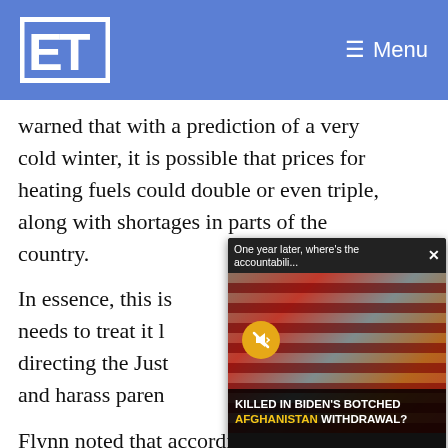LT — Menu
warned that with a prediction of a very cold winter, it is possible that prices for heating fuels could double or even triple, along with shortages in parts of the country.
In essence, this is [partially obscured by popup] needs to treat it l[ike...] directing the Just[ice...] and harass paren[ts...]
[Figure (screenshot): Video popup overlay showing 'One year later, where's the accountabili...' with a muted video of American flags and text 'KILLED IN BIDEN'S BOTCHED AFGHANISTAN WITHDRAWAL?']
Flynn noted that according to the U.S. Energy Information Administration, crude